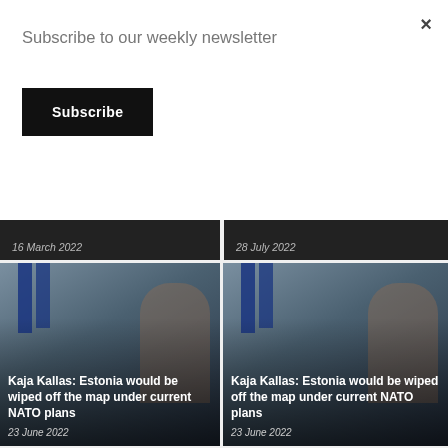Subscribe to our weekly newsletter
Subscribe
[Figure (screenshot): Partially visible dark news card with date '16 March 2022']
[Figure (screenshot): Partially visible dark news card with date '28 July 2022']
[Figure (photo): News card: Kaja Kallas with NATO flags in background, title 'Kaja Kallas: Estonia would be wiped off the map under current NATO plans', date '23 June 2022']
[Figure (photo): News card: Kaja Kallas with NATO flags in background, title 'Kaja Kallas: Estonia would be wiped off the map under current NATO plans', date '23 June 2022']
[Figure (photo): News card: Group of people, title 'Updates: Russia’s invasion of Ukraine – reactions in Estonia', date '3 May 2022']